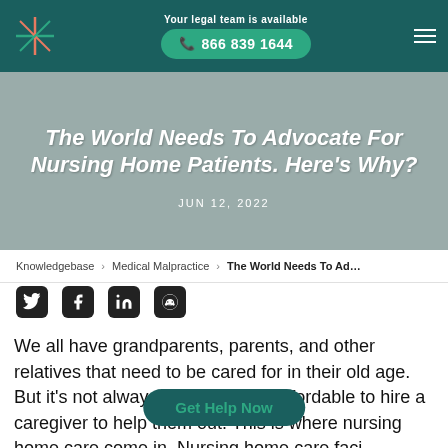Your legal team is available | 866 839 1644
The World Needs To Advocate For Nursing Home Patients. Here's Why?
JUN 12, 2022
Knowledgebase > Medical Malpractice > The World Needs To Ad...
[Figure (other): Social media share icons: Twitter, Facebook, LinkedIn, Reddit]
We all have grandparents, parents, and other relatives that need to be cared for in their old age. But it's not always convenient or affordable to hire a caregiver to help them out. This is where nursing home care come in. Nursing home care faci... d living and long-term care for seniors.